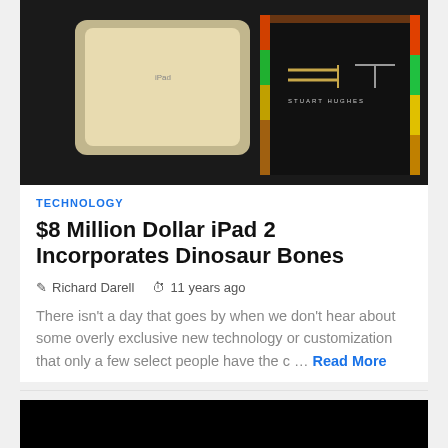[Figure (photo): iPad and a luxury Stuart Hughes branded tablet device on a dark background]
TECHNOLOGY
$8 Million Dollar iPad 2 Incorporates Dinosaur Bones
Richard Darell   11 years ago
There isn't a day that goes by when we don't hear about some overly exclusive new technology or customization that only a few select people have the c … Read More
[Figure (photo): Black image, second article image partially visible at bottom of page]